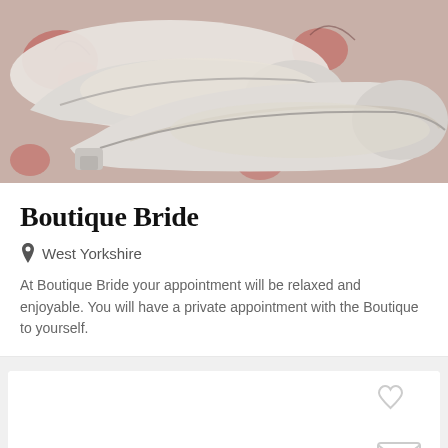[Figure (photo): Photo of white bridal flat shoes on a red/pink floral fabric background]
Boutique Bride
West Yorkshire
At Boutique Bride your appointment will be relaxed and enjoyable. You will have a private appointment with the Boutique to yourself.
[Figure (photo): Placeholder card with a grey camera icon, a heart icon and an envelope icon]